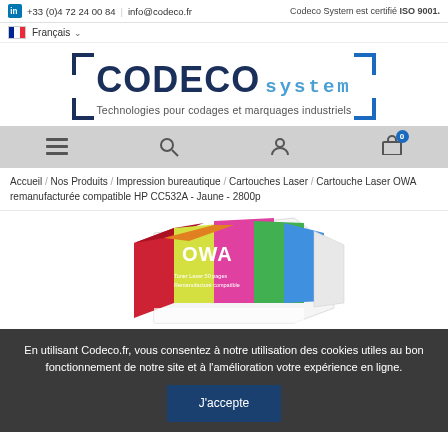+33 (0)4 72 24 00 84 | info@codeco.fr | Codeco System est certifié ISO 9001.
Français
[Figure (logo): CODECO system logo with bracket design and tagline: Technologies pour codages et marquages industriels]
[Figure (infographic): Navigation bar with hamburger menu, search, user, and cart icons]
Accueil / Nos Produits / Impression bureautique / Cartouches Laser / Cartouche Laser OWA remanufacturée compatible HP CC532A - Jaune - 2800p
[Figure (photo): OWA laser cartouche product box, colorful packaging with red, yellow, green, white colors]
En utilisant Codeco.fr, vous consentez à notre utilisation des cookies utiles au bon fonctionnement de notre site et à l'amélioration votre expérience en ligne.
J'accepte